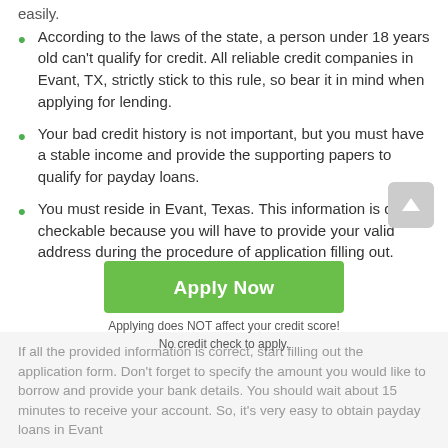easily.
According to the laws of the state, a person under 18 years old can't qualify for credit. All reliable credit companies in Evant, TX, strictly stick to this rule, so bear it in mind when applying for lending.
Your bad credit history is not important, but you must have a stable income and provide the supporting papers to qualify for payday loans.
You must reside in Evant, Texas. This information is quite checkable because you will have to provide your valid address during the procedure of application filling out.
If all the provided information is correct, start filling out the application form. Don't forget to specify the amount you would like to borrow and provide your bank details. You should wait about 15 minutes to receive your account. So, it's very easy to obtain payday loans in Evant
Apply Now
Applying does NOT affect your credit score!
No credit check to apply.